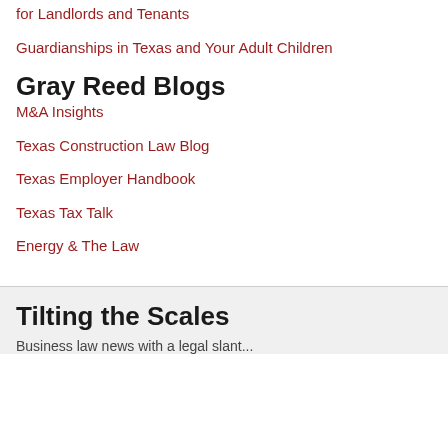for Landlords and Tenants
Guardianships in Texas and Your Adult Children
Gray Reed Blogs
M&A Insights
Texas Construction Law Blog
Texas Employer Handbook
Texas Tax Talk
Energy & The Law
Tilting the Scales
Business law news with a legal slant...